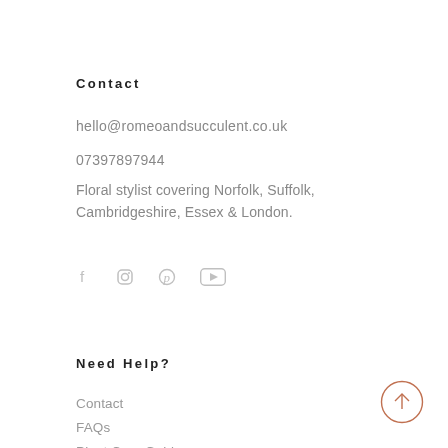Contact
hello@romeoandsucculent.co.uk
07397897944
Floral stylist covering Norfolk, Suffolk, Cambridgeshire, Essex & London.
[Figure (other): Social media icons: Facebook, Instagram, Pinterest, YouTube]
Need Help?
Contact
FAQs
Plant Care Guide
[Figure (other): Back to top button — circle with upward arrow, terracotta/copper outline]